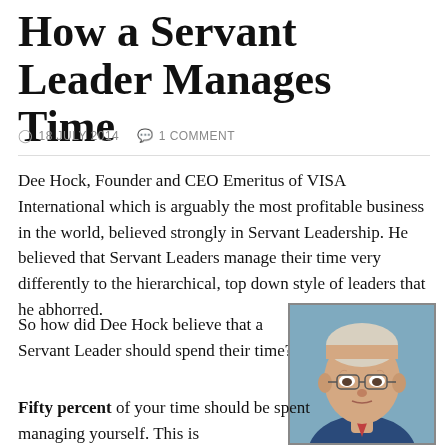How a Servant Leader Manages Time
18 JULY 2014   1 COMMENT
Dee Hock, Founder and CEO Emeritus of VISA International which is arguably the most profitable business in the world, believed strongly in Servant Leadership. He believed that Servant Leaders manage their time very differently to the hierarchical, top down style of leaders that he abhorred.
So how did Dee Hock believe that a Servant Leader should spend their time?
[Figure (photo): Portrait photo of an elderly man with white/silver hair, glasses, wearing a suit and tie, against a blue background]
Fifty percent of your time should be spent managing yourself. This is